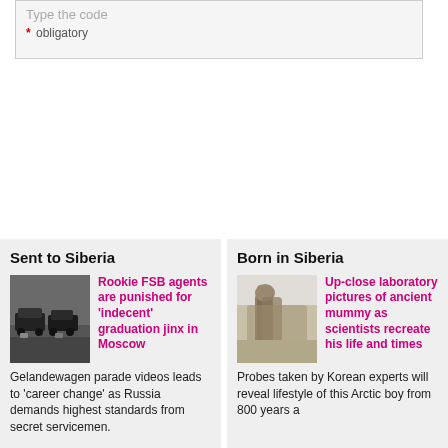Type the code
* obligatory
Sent to Siberia
Rookie FSB agents are punished for 'indecent' graduation jinx in Moscow
Gelandewagen parade videos leads to 'career change' as Russia demands highest standards from secret servicemen.
Born in Siberia
Up-close laboratory pictures of ancient mummy as scientists recreate his life and times
Probes taken by Korean experts will reveal lifestyle of this Arctic boy from 800 years ago.